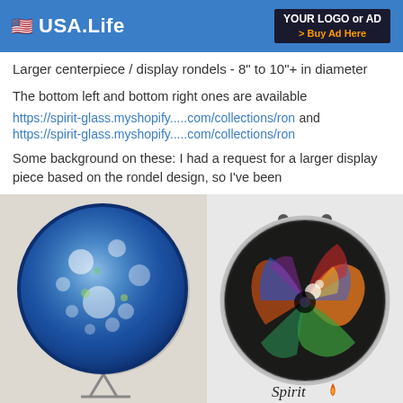USA.Life | YOUR LOGO or AD > Buy Ad Here
Larger centerpiece / display rondels - 8" to 10"+ in diameter
The bottom left and bottom right ones are available https://spirit-glass.myshopify.....com/collections/ron and https://spirit-glass.myshopify.....com/collections/ron
Some background on these: I had a request for a larger display piece based on the rondel design, so I've been
Read more
[Figure (photo): Two decorative glass rondels side by side. Left: a large blue and white speckled glass disk on a display stand. Right: a multicolored swirling glass rondel with orange, green, blue, black patterns. Below is a 'Spirit' logo with a flame.]